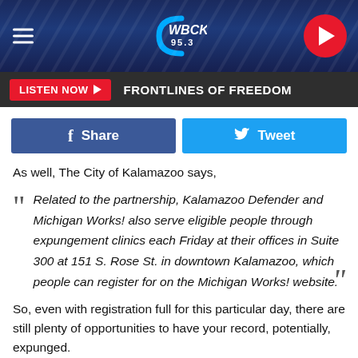[Figure (logo): WBCK 95.3 radio station logo on dark blue striped header with hamburger menu on left and red play button on right]
[Figure (screenshot): Listen Now button bar with red LISTEN NOW button and text FRONTLINES OF FREEDOM on dark gray background]
[Figure (screenshot): Social sharing buttons: blue Facebook Share button and cyan Tweet button]
As well, The City of Kalamazoo says,
Related to the partnership, Kalamazoo Defender and Michigan Works! also serve eligible people through expungement clinics each Friday at their offices in Suite 300 at 151 S. Rose St. in downtown Kalamazoo, which people can register for on the Michigan Works! website.
So, even with registration full for this particular day, there are still plenty of opportunities to have your record, potentially, expunged.